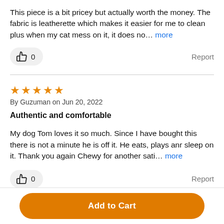This piece is a bit pricey but actually worth the money. The fabric is leatherette which makes it easier for me to clean plus when my cat mess on it, it does no… more
0 Report
★★★★★ By Guzuman on Jun 20, 2022
Authentic and comfortable
My dog Tom loves it so much. Since I have bought this there is not a minute he is off it. He eats, plays anr sleep on it. Thank you again Chewy for another sati… more
0 Report
Add to Cart